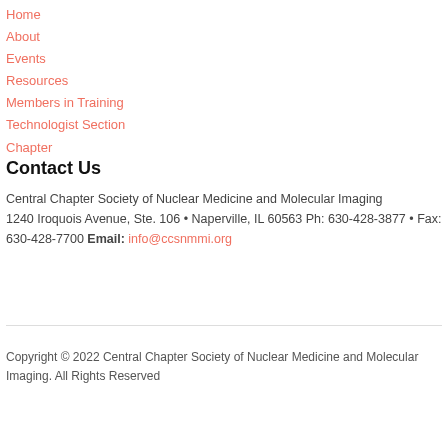Home
About
Events
Resources
Members in Training
Technologist Section
Chapter
Contact Us
Central Chapter Society of Nuclear Medicine and Molecular Imaging
1240 Iroquois Avenue, Ste. 106 • Naperville, IL 60563 Ph: 630-428-3877 • Fax: 630-428-7700 Email: info@ccsnmmi.org
Copyright © 2022 Central Chapter Society of Nuclear Medicine and Molecular Imaging. All Rights Reserved